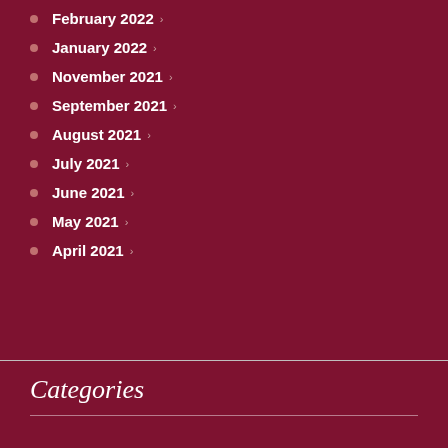February 2022
January 2022
November 2021
September 2021
August 2021
July 2021
June 2021
May 2021
April 2021
Categories